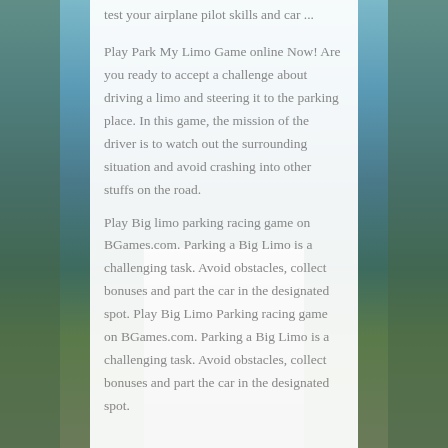test your airplane pilot skills and car ...
Play Park My Limo Game online Now! Are you ready to accept a challenge about driving a limo and steering it to the parking place. In this game, the mission of the driver is to watch out the surrounding situation and avoid crashing into other stuffs on the road.
Play Big limo parking racing game on BGames.com. Parking a Big Limo is a challenging task. Avoid obstacles, collect bonuses and part the car in the designated spot. Play Big Limo Parking racing game on BGames.com. Parking a Big Limo is a challenging task. Avoid obstacles, collect bonuses and part the car in the designated spot.